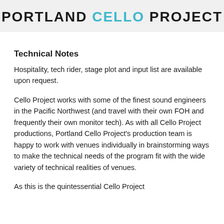PORTLAND CELLO PROJECT
Technical Notes
Hospitality, tech rider, stage plot and input list are available upon request.
Cello Project works with some of the finest sound engineers in the Pacific Northwest (and travel with their own FOH and frequently their own monitor tech). As with all Cello Project productions, Portland Cello Project's production team is happy to work with venues individually in brainstorming ways to make the technical needs of the program fit with the wide variety of technical realities of venues.
As this is the quintessential Cello Project